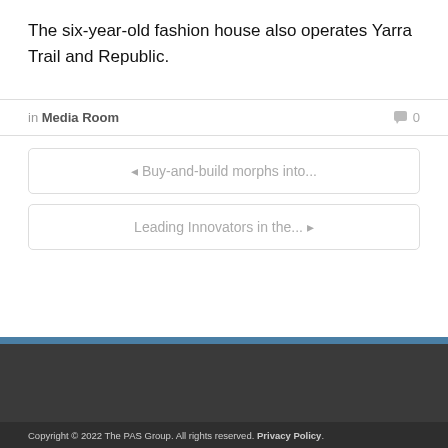The six-year-old fashion house also operates Yarra Trail and Republic.
in Media Room  0
◄ Buy-and-build morphs into...
Leading Innovators in the... ►
Copyright © 2022 The PAS Group. All rights reserved. Privacy Policy.